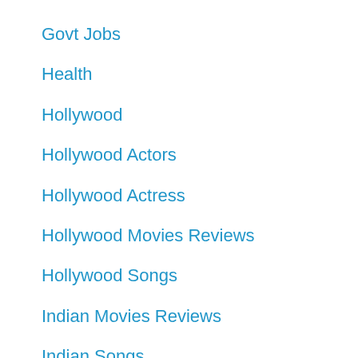Govt Jobs
Health
Hollywood
Hollywood Actors
Hollywood Actress
Hollywood Movies Reviews
Hollywood Songs
Indian Movies Reviews
Indian Songs
Join Pak Army
Laptop
Lifestyle